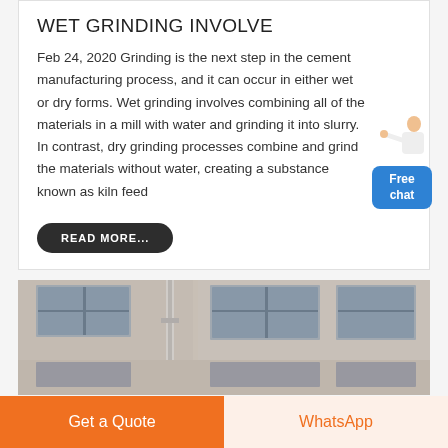WET GRINDING INVOLVE
Feb 24, 2020 Grinding is the next step in the cement manufacturing process, and it can occur in either wet or dry forms. Wet grinding involves combining all of the materials in a mill with water and grinding it into slurry. In contrast, dry grinding processes combine and grind the materials without water, creating a substance known as kiln feed
[Figure (illustration): Small illustration of a person in white coat pointing, with a blue 'Free chat' button below]
READ MORE...
[Figure (photo): Black and white photograph showing the exterior of a building with windows and a drainpipe]
Get a Quote
WhatsApp